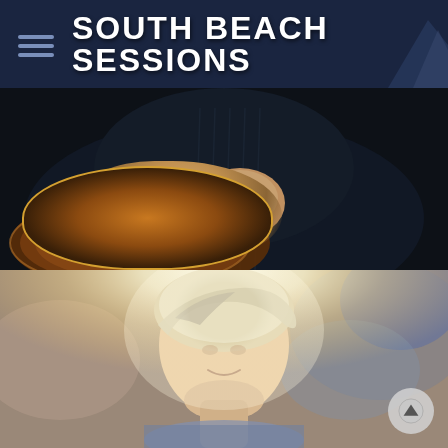SOUTH BEACH SESSIONS
[Figure (photo): Person in dark jacket holding guitar with tattooed hand visible, upper body shot against dark background]
[Figure (photo): Woman with short blonde hair smiling slightly downward, soft bokeh outdoor background with bright backlight]